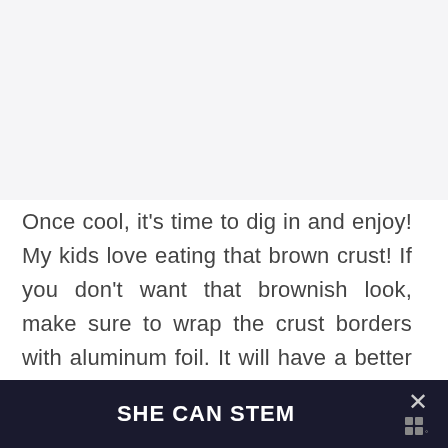[Figure (photo): Light gray placeholder image area at top of page]
Once cool, it's time to dig in and enjoy! My kids love eating that brown crust! If you don't want that brownish look, make sure to wrap the crust borders with aluminum foil. It will have a better presentation, especially if you are
SHE CAN STEM